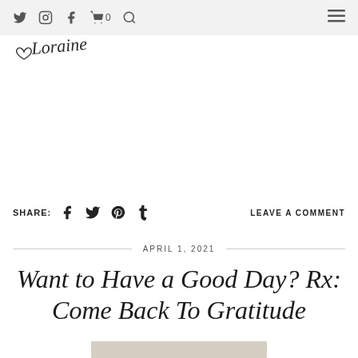Navigation bar with Twitter, Instagram, Facebook, Cart (0), Search icons and hamburger menu
[Figure (logo): Handwritten cursive signature logo reading 'Loraine' with a heart symbol]
SHARE:  LEAVE A COMMENT
APRIL 1, 2021
Want to Have a Good Day? Rx: Come Back To Gratitude
[Figure (photo): Partial view of a decorative textured surface/fabric at the bottom of the page]